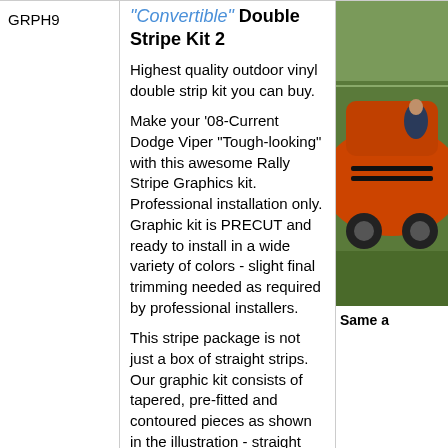GRPH9
"Convertible" Double Stripe Kit 2
Highest quality outdoor vinyl double strip kit you can buy.
Make your '08-Current Dodge Viper "Tough-looking" with this awesome Rally Stripe Graphics kit. Professional installation only. Graphic kit is PRECUT and ready to install in a wide variety of colors - slight final trimming needed as required by professional installers.
This stripe package is not just a box of straight strips. Our graphic kit consists of tapered, pre-fitted and contoured pieces as shown in the illustration - straight stripes will not work on this vehicle. Thus, due to the fact that this kit is created specifically for the '08-Current Dodge Viper it will not fit any other vehicle.
Stripes require center spacing at time of installation as per our
[Figure (photo): Photo of an orange Dodge Viper convertible with rally stripes, outdoors on grass.]
Same a